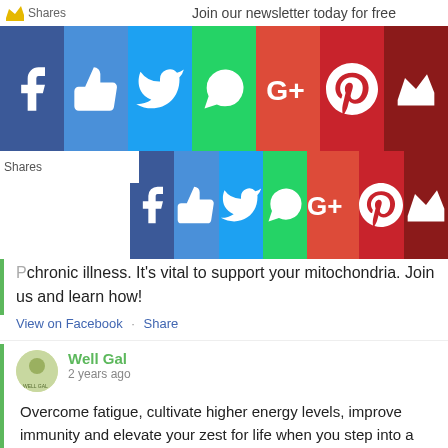Join our newsletter today for free
[Figure (infographic): Social media sharing buttons bar (two rows): Facebook, Like/Thumbs up, Twitter, WhatsApp, Google+, Pinterest, Crown/Top icon — in blue, cyan, sky blue, green, red-orange, dark red colors]
chronic illness. It's vital to support your mitochondria. Join us and learn how!
View on Facebook · Share
Well Gal
2 years ago
Overcome fatigue, cultivate higher energy levels, improve immunity and elevate your zest for life when you step into a supercharged version of yourself! Don't miss The Superhuman Energy Summit from July 13-19, 2020, free and online! 41 expert talks sharing the science and secrets of unlocking SUPERHUMAN ENERGY! superhumanenergysummit.co